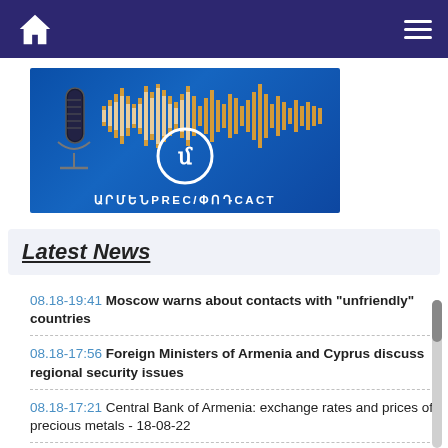Navigation bar with home icon and menu icon
[Figure (illustration): Armenpress podcast banner image showing a microphone on a blue background with orange/gold audio waveforms and a circular logo with Armenian letters, text reading ARMENPRESS/PODCAST in Armenian script]
Latest News
08.18-19:41 Moscow warns about contacts with "unfriendly" countries
08.18-17:56 Foreign Ministers of Armenia and Cyprus discuss regional security issues
08.18-17:21 Central Bank of Armenia: exchange rates and prices of precious metals - 18-08-22
08.18-17:20 Asian Stocks down - 18-08-22